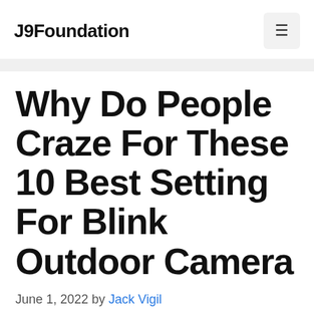J9Foundation
Why Do People Craze For These 10 Best Setting For Blink Outdoor Camera
June 1, 2022 by Jack Vigil